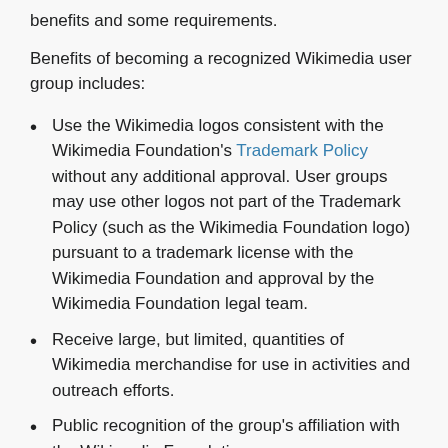benefits and some requirements.
Benefits of becoming a recognized Wikimedia user group includes:
Use the Wikimedia logos consistent with the Wikimedia Foundation's Trademark Policy without any additional approval. User groups may use other logos not part of the Trademark Policy (such as the Wikimedia Foundation logo) pursuant to a trademark license with the Wikimedia Foundation and approval by the Wikimedia Foundation legal team.
Receive large, but limited, quantities of Wikimedia merchandise for use in activities and outreach efforts.
Public recognition of the group's affiliation with the Wikimedia Foundation.